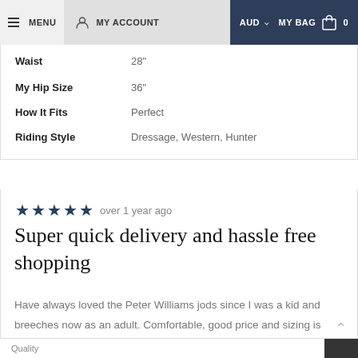MENU  MY ACCOUNT  AUD  MY BAG  0
| Waist | 28" |
| My Hip Size | 36" |
| How It Fits | Perfect |
| Riding Style | Dressage, Western, Hunter |
★★★★★ over 1 year ago
Super quick delivery and hassle free shopping
Have always loved the Peter Williams jods since I was a kid and breeches now as an adult. Comfortable, good price and sizing is always spot on.